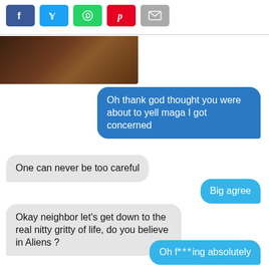[Figure (screenshot): Social share bar with Facebook, Twitter, WhatsApp, Pinterest, and Email buttons]
[Figure (photo): Partial photo showing dark brown material, possibly chocolate or fabric]
Oh thank god thought you were about to yell maga I got concerned
One can never be too careful
Big agree
Okay neighbor let’s get down to the real nitty gritty of life, do you believe in Aliens ?
Oh f***ing absolutely